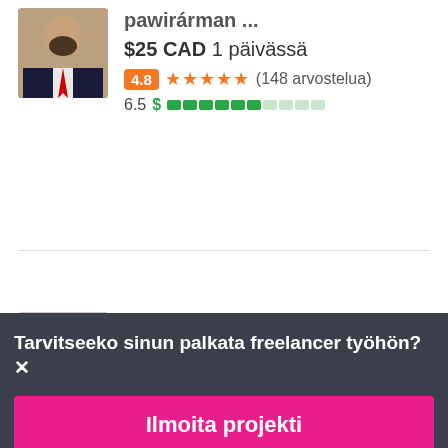[Figure (screenshot): Partial freelancer profile card (top, partially cut off): price $25 CAD 1 päivässä, rating 4.8 with 5 stars (148 arvostelua), score 6.5 with green progress bar segments]
[Figure (screenshot): Freelancer profile card for hassanarshad92 (Pakistan flag): $50 CAD 1 päivässä, rating 4.9 with 5 stars (143 arvostelua), score 6.4 with green progress bar segments]
Tarvitseeko sinun palkata freelancer työhön? ✕
Ilmoita projekti